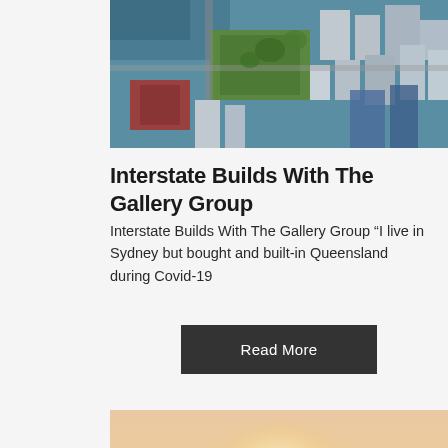[Figure (photo): Aerial view of a coastal town showing buildings, green space, roads, and waterfront area]
Interstate Builds With The Gallery Group
Interstate Builds With The Gallery Group “I live in Sydney but bought and built-in Queensland during Covid-19
Read More
[Figure (photo): Coastal road at sunset/sunrise with warm orange and pink tones, road leading through grassy dunes with ocean visible on the left]